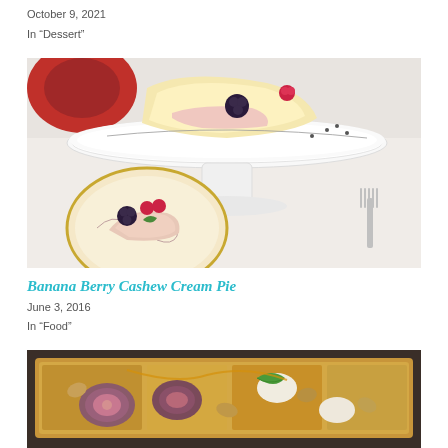October 9, 2021
In "Dessert"
[Figure (photo): A dessert on a white cake stand with berries (blackberries and raspberries) on a decorative plate, and a serving fork visible to the right]
Banana Berry Cashew Cream Pie
June 3, 2016
In "Food"
[Figure (photo): A baked dessert tart or pie in a dark rectangular pan with figs, nuts, and a mint leaf garnish]